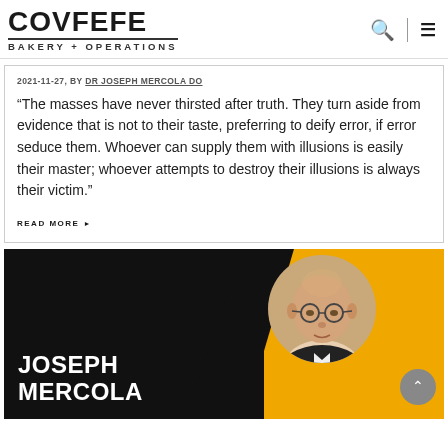COVFEFE BAKERY + OPERATIONS
2021-11-27, BY DR JOSEPH MERCOLA DO
“The masses have never thirsted after truth. They turn aside from evidence that is not to their taste, preferring to deify error, if error seduce them. Whoever can supply them with illusions is easily their master; whoever attempts to destroy their illusions is always their victim.”
READ MORE
[Figure (photo): Promotional banner for Joseph Mercola featuring his name in large white bold text on a dark background with a yellow diagonal accent and a circular portrait photo of a bald man in a suit, plus a scroll-up button.]